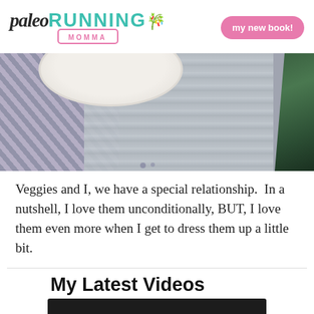paleo RUNNING MOMMA — my new book!
[Figure (photo): Food photo showing a white bowl on a wooden surface with a striped cloth/napkin and fresh rosemary sprigs]
Veggies and I, we have a special relationship.  In a nutshell, I love them unconditionally, BUT, I love them even more when I get to dress them up a little bit.
My Latest Videos
[Figure (screenshot): Video player area with dark header bar and CVS Beauty & Wellness Deals advertisement below]